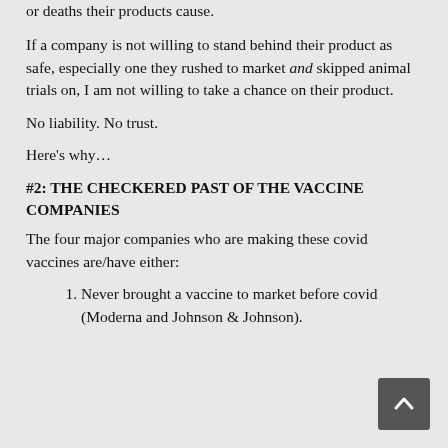…willing to accept any responsibility for any adverse events or deaths their products cause.
If a company is not willing to stand behind their product as safe, especially one they rushed to market and skipped animal trials on, I am not willing to take a chance on their product.
No liability. No trust.
Here's why…
#2: THE CHECKERED PAST OF THE VACCINE COMPANIES
The four major companies who are making these covid vaccines are/have either:
Never brought a vaccine to market before covid (Moderna and Johnson & Johnson).